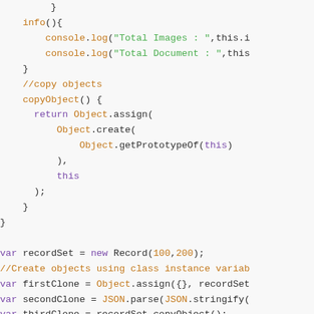JavaScript code snippet showing a class with info() and copyObject() methods, followed by variable declarations using Record constructor, Object.assign, JSON.parse/stringify, and console.log calls.